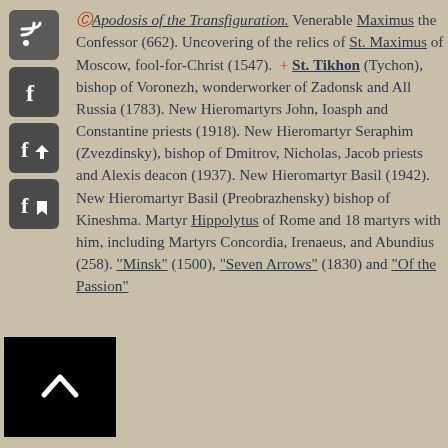[Figure (infographic): Sidebar with social media icons: RSS feed icon, Facebook icon, Facebook share icon, Facebook save icon. Below those, a black back-to-top button with a white chevron/caret.]
Apodosis of the Transfiguration. Venerable Maximus the Confessor (662). Uncovering of the relics of St. Maximus of Moscow, fool-for-Christ (1547). + St. Tikhon (Tychon), bishop of Voronezh, wonderworker of Zadonsk and All Russia (1783). New Hieromartyrs John, Ioasph and Constantine priests (1918). New Hieromartyr Seraphim (Zvezdinsky), bishop of Dmitrov, Nicholas, Jacob priests and Alexis deacon (1937). New Hieromartyr Basil (1942). New Hieromartyr Basil (Preobrazhensky) bishop of Kineshma. Martyr Hippolytus of Rome and 18 martyrs with him, including Martyrs Concordia, Irenaeus, and Abundius (258). "Minsk" (1500), "Seven Arrows" (1830) and "Of the Passion"